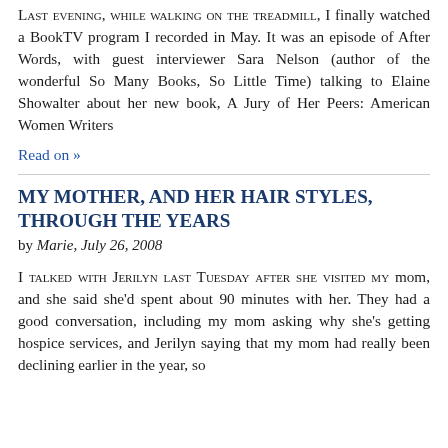LAST EVENING, WHILE WALKING ON THE TREADMILL, I finally watched a BookTV program I recorded in May. It was an episode of After Words, with guest interviewer Sara Nelson (author of the wonderful So Many Books, So Little Time) talking to Elaine Showalter about her new book, A Jury of Her Peers: American Women Writers
Read on »
MY MOTHER, AND HER HAIR STYLES, THROUGH THE YEARS
by Marie, July 26, 2008
I TALKED WITH JERILYN LAST TUESDAY AFTER SHE VISITED MY mom, and she said she'd spent about 90 minutes with her. They had a good conversation, including my mom asking why she's getting hospice services, and Jerilyn saying that my mom had really been declining earlier in the year, so